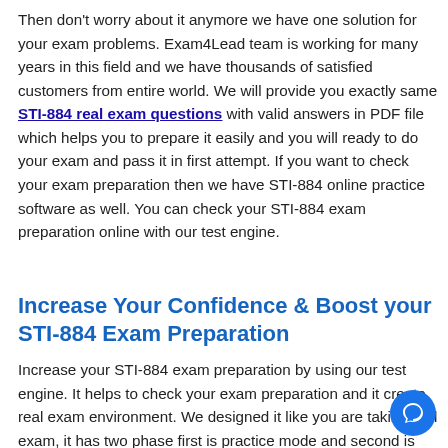Then don't worry about it anymore we have one solution for your exam problems. Exam4Lead team is working for many years in this field and we have thousands of satisfied customers from entire world. We will provide you exactly same STI-884 real exam questions with valid answers in PDF file which helps you to prepare it easily and you will ready to do your exam and pass it in first attempt. If you want to check your exam preparation then we have STI-884 online practice software as well. You can check your STI-884 exam preparation online with our test engine.
Increase Your Confidence & Boost your STI-884 Exam Preparation
Increase your STI-884 exam preparation by using our test engine. It helps to check your exam preparation and it create real exam environment. We designed it like you are taking real exam, it has two phase first is practice mode and second is real exam mode. In practice mode you will practice all the STI-884 exam questions you answer and in exam mode you will check your exam preparation and